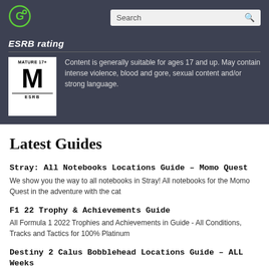[Figure (logo): Circular green and white gaming guide website logo]
ESRB rating
[Figure (illustration): ESRB Mature 17+ rating badge with large M letter]
Content is generally suitable for ages 17 and up. May contain intense violence, blood and gore, sexual content and/or strong language.
Latest Guides
Stray: All Notebooks Locations Guide – Momo Quest
We show you the way to all notebooks in Stray! All notebooks for the Momo Quest in the adventure with the cat
F1 22 Trophy & Achievements Guide
All Formula 1 2022 Trophies and Achievements in Guide - All Conditions, Tracks and Tactics for 100% Platinum
Destiny 2 Calus Bobblehead Locations Guide – ALL Weeks
Can't find one of the bobble heads on the Leviathan? We'll show you